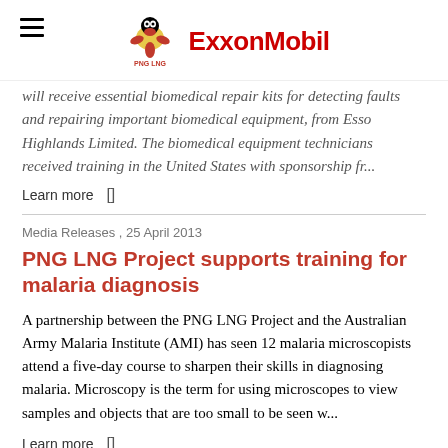PNG LNG | ExxonMobil
will receive essential biomedical repair kits for detecting faults and repairing important biomedical equipment, from Esso Highlands Limited. The biomedical equipment technicians received training in the United States with sponsorship fr...
Learn more []
Media Releases , 25 April 2013
PNG LNG Project supports training for malaria diagnosis
A partnership between the PNG LNG Project and the Australian Army Malaria Institute (AMI) has seen 12 malaria microscopists attend a five-day course to sharpen their skills in diagnosing malaria. Microscopy is the term for using microscopes to view samples and objects that are too small to be seen w...
Learn more []